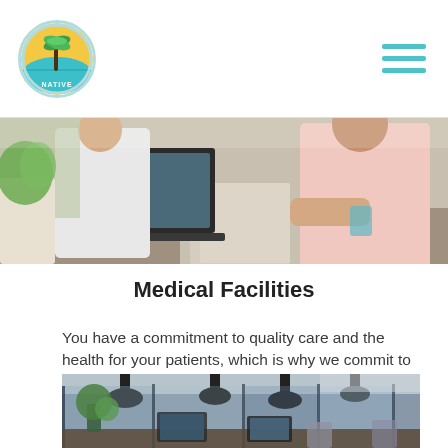NATIVE [logo with palm tree illustration]
[Figure (photo): Two medical professionals (doctor in white coat and another person in pink) working over papers and a laptop on a desk with a plant in the background.]
Medical Facilities
You have a commitment to quality care and the health for your patients, which is why we commit to making sure your clinic or hospital stays pest-free.
[Figure (photo): A modern office or clinical space with dark pendant lamps, glass partitions, green plants, and computers on desks.]